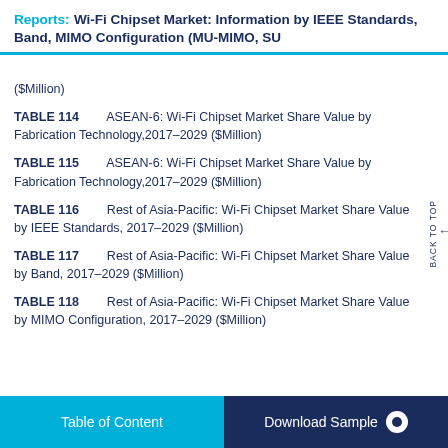Reports: Wi-Fi Chipset Market: Information by IEEE Standards, Band, MIMO Configuration (MU-MIMO, SU
($Million)
TABLE 114   ASEAN-6: Wi-Fi Chipset Market Share Value by Fabrication Technology,2017–2029 ($Million)
TABLE 115   ASEAN-6: Wi-Fi Chipset Market Share Value by Fabrication Technology,2017–2029 ($Million)
TABLE 116   Rest of Asia-Pacific: Wi-Fi Chipset Market Share Value by IEEE Standards, 2017–2029 ($Million)
TABLE 117   Rest of Asia-Pacific: Wi-Fi Chipset Market Share Value by Band, 2017–2029 ($Million)
TABLE 118   Rest of Asia-Pacific: Wi-Fi Chipset Market Share Value by MIMO Configuration, 2017–2029 ($Million)
Table of Content   Download Sample